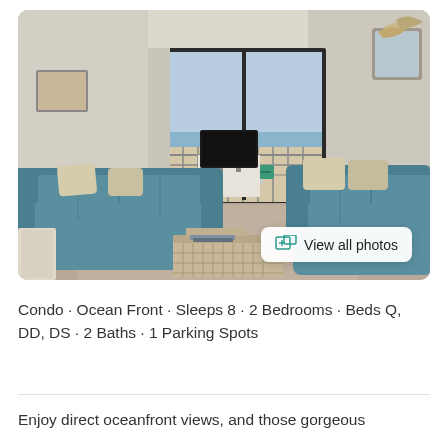[Figure (photo): Interior photo of a beachfront condo living room with two teal/blue sofas, a wicker coffee table, a flat-screen TV, and a sliding glass door leading to a balcony with ocean views. A 'View all photos' button overlay is visible in the lower right of the photo.]
Condo · Ocean Front · Sleeps 8 · 2 Bedrooms · Beds Q, DD, DS · 2 Baths · 1 Parking Spots
Enjoy direct oceanfront views, and those gorgeous